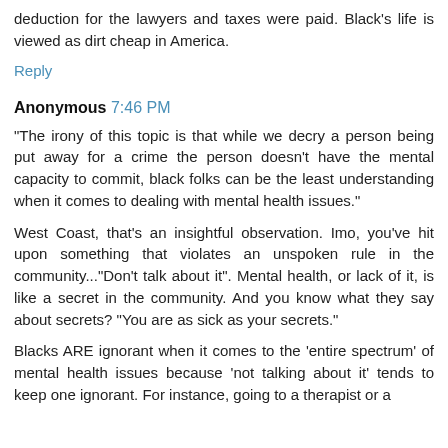deduction for the lawyers and taxes were paid. Black's life is viewed as dirt cheap in America.
Reply
Anonymous 7:46 PM
"The irony of this topic is that while we decry a person being put away for a crime the person doesn't have the mental capacity to commit, black folks can be the least understanding when it comes to dealing with mental health issues."
West Coast, that's an insightful observation. Imo, you've hit upon something that violates an unspoken rule in the community..."Don't talk about it". Mental health, or lack of it, is like a secret in the community. And you know what they say about secrets? "You are as sick as your secrets."
Blacks ARE ignorant when it comes to the 'entire spectrum' of mental health issues because 'not talking about it' tends to keep one ignorant. For instance, going to a therapist or a